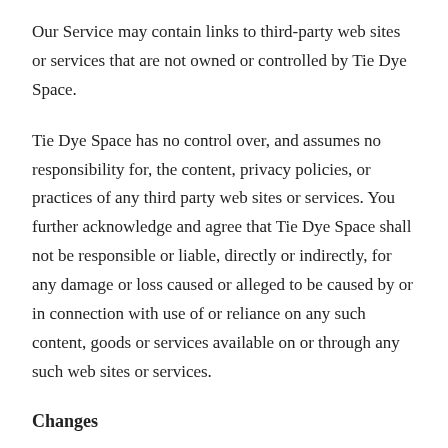Our Service may contain links to third-party web sites or services that are not owned or controlled by Tie Dye Space.
Tie Dye Space has no control over, and assumes no responsibility for, the content, privacy policies, or practices of any third party web sites or services. You further acknowledge and agree that Tie Dye Space shall not be responsible or liable, directly or indirectly, for any damage or loss caused or alleged to be caused by or in connection with use of or reliance on any such content, goods or services available on or through any such web sites or services.
Changes
We reserve the right, at our sole discretion, to modify or replace these Terms at any time. If a revision is material we will try to